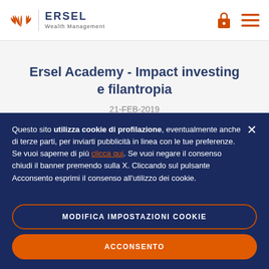[Figure (logo): Ersel Wealth Management logo with orange wheat/leaf icon and dark blue ERSEL text]
Ersel Academy - Impact investing e filantropia
21-FEB-2019
Questo sito utilizza cookie di profilazione, eventualmente anche di terze parti, per inviarti pubblicità in linea con le tue preferenze. Se vuoi saperne di più clicca qui. Se vuoi negare il consenso chiudi il banner premendo sulla X. Cliccando sul pulsante Acconsento esprimi il consenso all'utilizzo dei cookie.
MODIFICA IMPOSTAZIONI COOKIE
ACCONSENTO